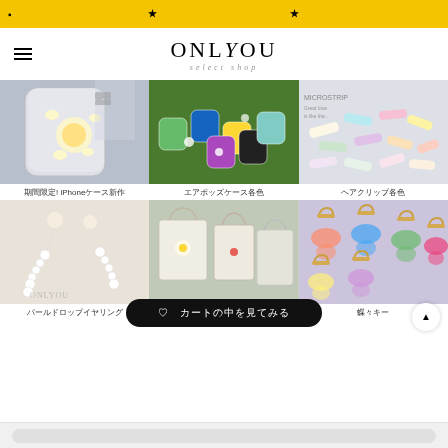★ 　　　　　　　　　　　　★
ONLYOU select shop
[Figure (photo): Phone case with daisy flower pattern]
期間限定! iPhoneケース新作
[Figure (photo): Colorful AirPods cases on grass]
エアポッズケース各色
[Figure (photo): Colorful hair clips accessories]
ヘアクリップ各色
[Figure (photo): White pearl drop earrings]
パールドロップイヤリング
[Figure (photo): Canvas tote bags with embroidery]
キャンバストートバッグ
[Figure (photo): Colorful butterfly keychains]
蝶々キー
♡ カートの中を見てみる